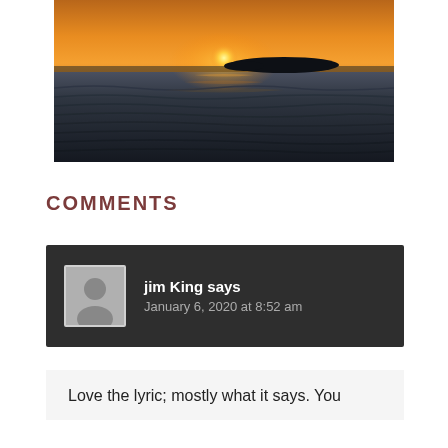[Figure (photo): Sunset over ocean with a small island silhouette on the horizon, warm orange and golden sky reflected on dark rippling water]
COMMENTS
jim King says
January 6, 2020 at 8:52 am
Love the lyric; mostly what it says. You